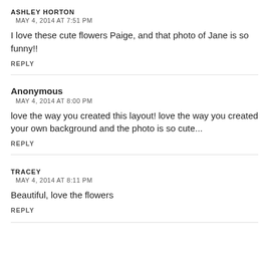ASHLEY HORTON
MAY 4, 2014 AT 7:51 PM
I love these cute flowers Paige, and that photo of Jane is so funny!!
REPLY
Anonymous
MAY 4, 2014 AT 8:00 PM
love the way you created this layout! love the way you created your own background and the photo is so cute...
REPLY
TRACEY
MAY 4, 2014 AT 8:11 PM
Beautiful, love the flowers
REPLY